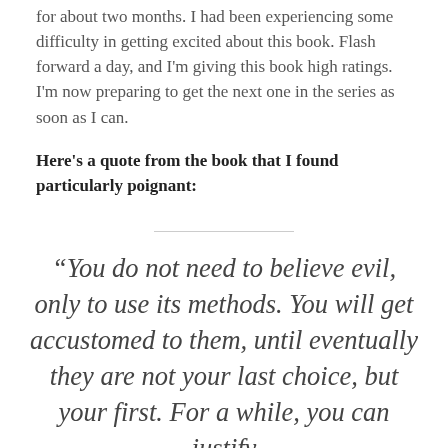for about two months. I had been experiencing some difficulty in getting excited about this book. Flash forward a day, and I'm giving this book high ratings. I'm now preparing to get the next one in the series as soon as I can.
Here's a quote from the book that I found particularly poignant:
“You do not need to believe evil, only to use its methods. You will get accustomed to them, until eventually they are not your last choice, but your first. For a while, you can justify